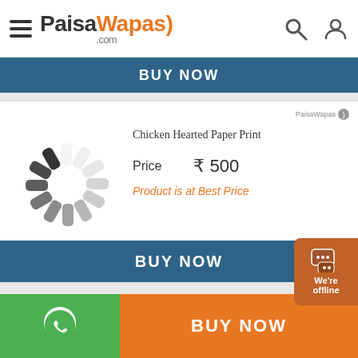PaisaWapas.com
BUY NOW
[Figure (illustration): Loading spinner placeholder for product image]
Chicken Hearted Paper Print
Price   ₹ 500
Product is at Best Price
BUY NOW
[Figure (illustration): Loading spinner placeholder for second product image]
Chicken Love Canvas Art
BUY NOW
We're offline